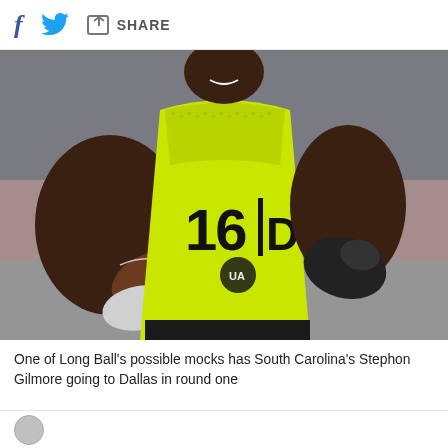f [twitter bird] [share icon] SHARE
[Figure (photo): Football player wearing a neon yellow jersey with number 16 DB (defensive back), carrying a football and running during what appears to be the NFL Combine.]
One of Long Ball's possible mocks has South Carolina's Stephon Gilmore going to Dallas in round one